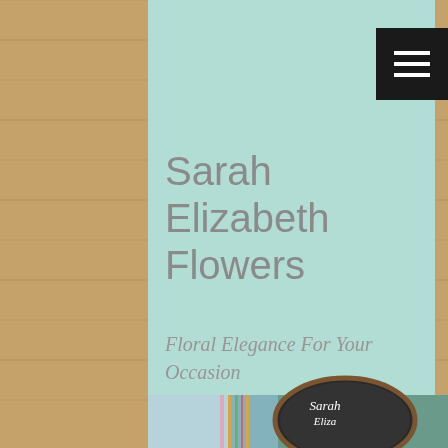Sarah Elizabeth Flowers
Floral Elegance For Your Occasion
[Figure (photo): Bottom portion shows a photo of floral arrangements and a chalkboard sign reading 'Sarah Elizabeth Flowers' in a rustic wooden hoop frame, with colorful fabric/ribbon decorations visible on the left.]